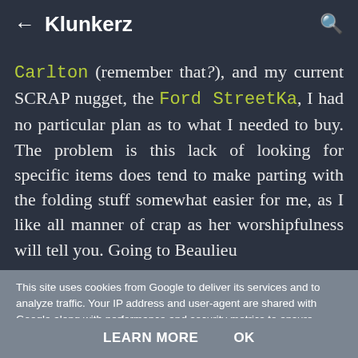← Klunkerz
Carlton (remember that?), and my current sCRAP nugget, the Ford StreetKa, I had no particular plan as to what I needed to buy. The problem is this lack of looking for specific items does tend to make parting with the folding stuff somewhat easier for me, as I like all manner of crap as her worshipfulness will tell you. Going to Beaulieu
This site uses cookies from Google to deliver its services and to analyze traffic. Your IP address and user-agent are shared with Google along with performance and security metrics to ensure quality of service, generate usage statistics, and to detect and address abuse.
LEARN MORE   OK